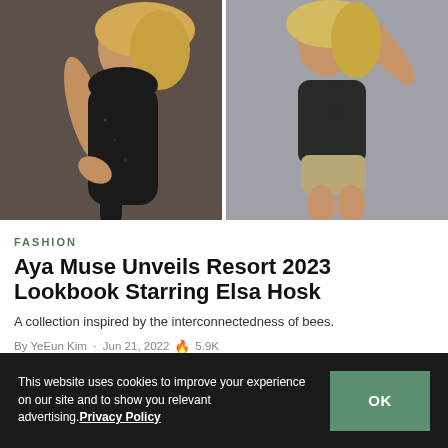[Figure (photo): Two fashion photos side by side of a blonde woman (Elsa Hosk) wearing Aya Muse Resort 2023 outfits. Left photo: dark sparkly backless dress, side/back view. Right photo: dark knit tank top with beige shorts, back/side view.]
FASHION
Aya Muse Unveils Resort 2023 Lookbook Starring Elsa Hosk
A collection inspired by the interconnectedness of bees.
By YeEun Kim · Jun 21, 2022 🔥 5.9K
This website uses cookies to improve your experience on our site and to show you relevant advertising. Privacy Policy
OK